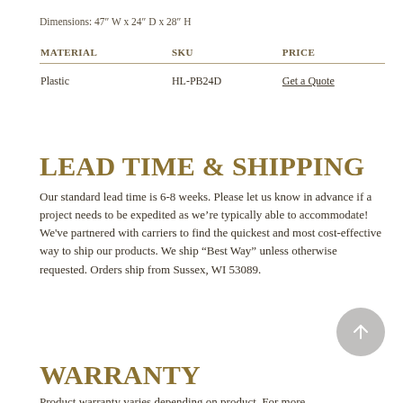Dimensions: 47" W x 24" D x 28" H
| MATERIAL | SKU | PRICE |
| --- | --- | --- |
| Plastic | HL-PB24D | Get a Quote |
LEAD TIME & SHIPPING
Our standard lead time is 6-8 weeks. Please let us know in advance if a project needs to be expedited as we're typically able to accommodate! We've partnered with carriers to find the quickest and most cost-effective way to ship our products. We ship "Best Way" unless otherwise requested. Orders ship from Sussex, WI 53089.
WARRANTY
Product warranty varies depending on product. For more